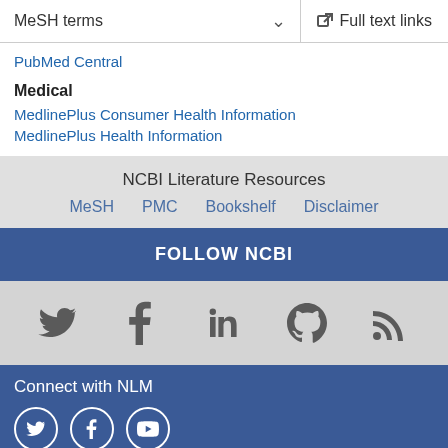MeSH terms
Full text links
PubMed Central
Medical
MedlinePlus Consumer Health Information
MedlinePlus Health Information
NCBI Literature Resources
MeSH
PMC
Bookshelf
Disclaimer
FOLLOW NCBI
[Figure (infographic): Social media icons: Twitter, Facebook, LinkedIn, GitHub, RSS]
Connect with NLM
[Figure (infographic): Connect with NLM social media circle icons: Twitter, Facebook, and one more partially visible]